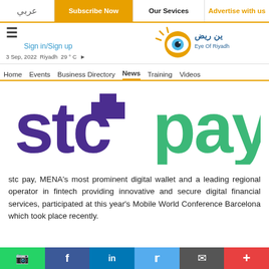عربي | Subscribe Now | Our Services | Advertise with us
[Figure (logo): Eye of Riyadh logo with Arabic text and stylized eye graphic]
Sign in/Sign up
3 Sep, 2022  Riyadh  29 ° C
Home  Events  Business Directory  News  Training  Videos
[Figure (logo): stc pay logo: 'stc' in large purple bold letters and 'pay' in large green bold letters]
stc pay, MENA's most prominent digital wallet and a leading regional operator in fintech providing innovative and secure digital financial services, participated at this year's Mobile World Conference Barcelona which took place recently.
WhatsApp | Facebook | LinkedIn | Twitter | Email | More